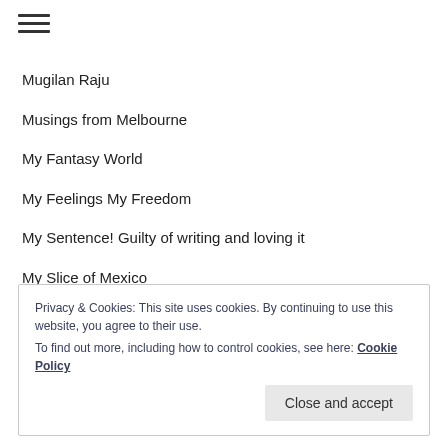☰
Mugilan Raju
Musings from Melbourne
My Fantasy World
My Feelings My Freedom
My Sentence! Guilty of writing and loving it
My Slice of Mexico
My Slightly Twisted Life
My Strange Days
Privacy & Cookies: This site uses cookies. By continuing to use this website, you agree to their use.
To find out more, including how to control cookies, see here: Cookie Policy
Close and accept